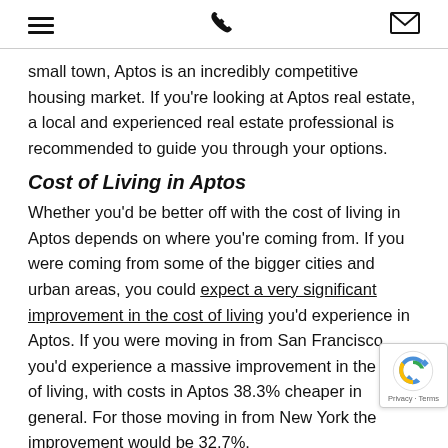[hamburger menu icon] [phone icon] [envelope icon]
small town, Aptos is an incredibly competitive housing market. If you're looking at Aptos real estate, a local and experienced real estate professional is recommended to guide you through your options.
Cost of Living in Aptos
Whether you'd be better off with the cost of living in Aptos depends on where you're coming from. If you were coming from some of the bigger cities and urban areas, you could expect a very significant improvement in the cost of living you'd experience in Aptos. If you were moving in from San Francisco, you'd experience a massive improvement in the cost of living, with costs in Aptos 38.3% cheaper in general. For those moving in from New York the improvement would be 32.7%.
Aptos presents some movers with a great opportunity to